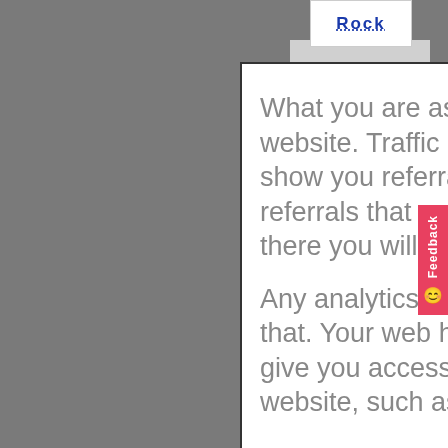[Figure (screenshot): Background photo of a person reading a newspaper, with a white content card overlaid showing website referral analytics text, stacked blue card shadows behind it, and a red Feedback button on the right edge.]
(Scroll this if needed)
What you are asking is 'Referrals' to your website. Traffic analytics software will show you referrals. From there look at the referrals that are from other websites and there you will find your answer.

Any analytics program can help you with that. Your web hosting provider should give you access to monitor traffic to your website, such as